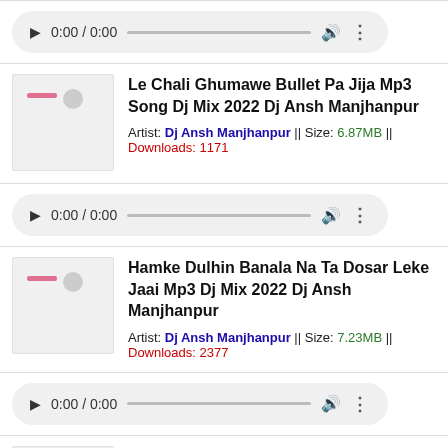[Figure (screenshot): Audio player control bar showing play button, 0:00 / 0:00 timestamp, progress bar, volume icon, and more options icon]
[Figure (screenshot): Song listing with thumbnail: Le Chali Ghumawe Bullet Pa Jija Mp3 Song Dj Mix 2022 Dj Ansh Manjhanpur. Artist: Dj Ansh Manjhanpur, Size: 6.87MB, Downloads: 1171]
[Figure (screenshot): Audio player control bar showing play button, 0:00 / 0:00 timestamp, progress bar, volume icon, and more options icon]
[Figure (screenshot): Song listing with thumbnail: Hamke Dulhin Banala Na Ta Dosar Leke Jaai Mp3 Dj Mix 2022 Dj Ansh Manjhanpur. Artist: Dj Ansh Manjhanpur, Size: 7.23MB, Downloads: 2377]
[Figure (screenshot): Audio player control bar showing play button, 0:00 / 0:00 timestamp, progress bar, volume icon, and more options icon]
[Figure (screenshot): Partial song listing thumbnail at bottom of page]